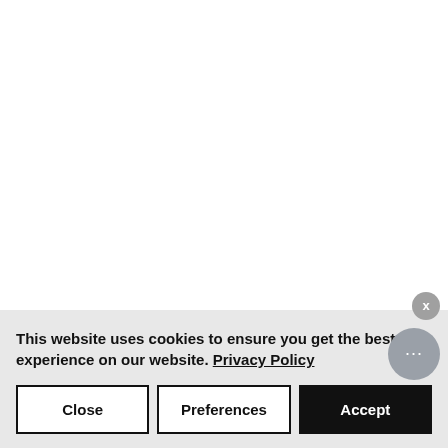ALOE
This website uses cookies to ensure you get the best experience on our website. Privacy Policy
Close | Preferences | Accept